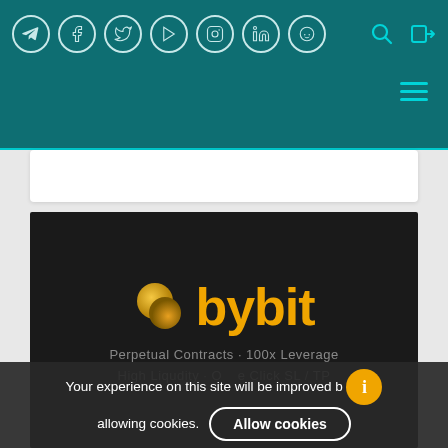Social media icons: Telegram, Facebook, Twitter, YouTube, Instagram, LinkedIn, Reddit; Search icon; Login icon
[Figure (screenshot): Bybit advertisement banner with logo showing two overlapping golden circles and 'bybit' in orange text, with text 'Perpetual Contracts · 100x Leverage' and 'High Liqudity · One Click SL / TP']
Your experience on this site will be improved by allowing cookies.
Allow cookies